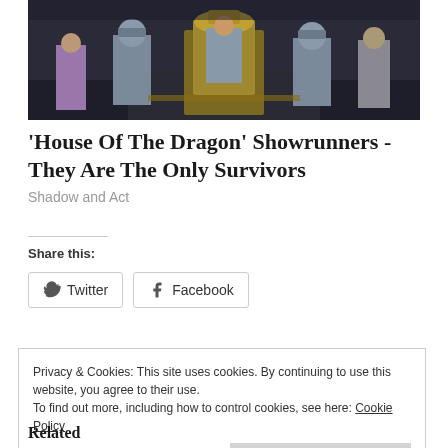[Figure (photo): Scene from 'House of the Dragon' showing armored knights and a figure on a throne in a grand hall]
'House Of The Dragon' Showrunners - They Are The Only Survivors
Shadow and Act
Share this:
Twitter
Facebook
Privacy & Cookies: This site uses cookies. By continuing to use this website, you agree to their use. To find out more, including how to control cookies, see here: Cookie Policy
Close and accept
Related